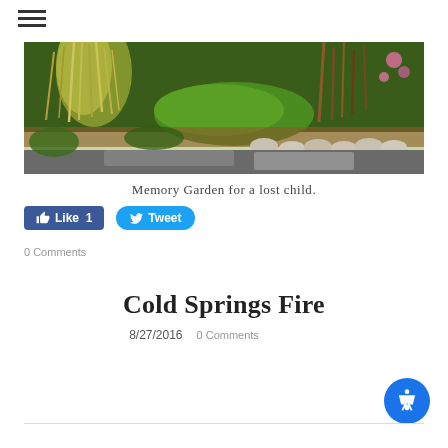[Figure (photo): Lush garden scene with ornamental grasses, green mounds, pink flowers, and stone edging along a pathway.]
Memory Garden for a lost child.
Like 1   Tweet
0 Comments
Cold Springs Fire
8/27/2016   0 Comments